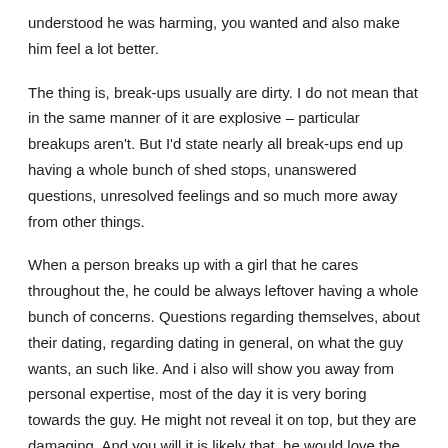understood he was harming, you wanted and also make him feel a lot better.
The thing is, break-ups usually are dirty. I do not mean that in the same manner of it are explosive – particular breakups aren't. But I'd state nearly all break-ups end up having a whole bunch of shed stops, unanswered questions, unresolved feelings and so much more away from other things.
When a person breaks up with a girl that he cares throughout the, he could be always leftover having a whole bunch of concerns. Questions regarding themselves, about their dating, regarding dating in general, on what the guy wants, an such like. And i also will show you away from personal expertise, most of the day it is very boring towards the guy. He might not reveal it on top, but they are damaging. And you will it is likely that, he would love the opportunity to avoid casualdates mobile the pain and you may self-thinking that frequently arrives out of breaking up. With that said,